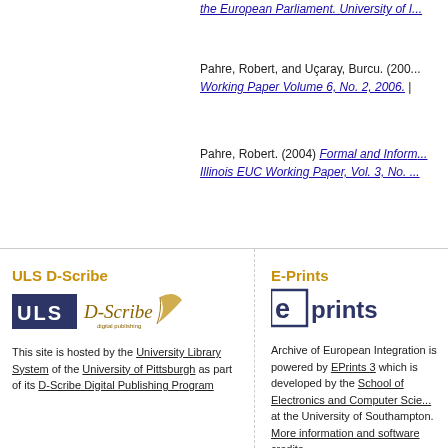the European Parliament. University of ...
Pahre, Robert, and Uçaray, Burcu. (200...) Working Paper Volume 6, No. 2, 2006.
Pahre, Robert. (2004) Formal and Inform... Illinois EUC Working Paper, Vol. 3, No. ...
ULS D-Scribe
[Figure (logo): ULS D-Scribe digital publishing logo with ULS block letters and D-Scribe cursive with feather]
This site is hosted by the University Library System of the University of Pittsburgh as part of its D-Scribe Digital Publishing Program
E-Prints
[Figure (logo): EPrints logo with e in box and 'prints' text]
Archive of European Integration is powered by EPrints 3 which is developed by the School of Electronics and Computer Science at the University of Southampton. More information and software credits.